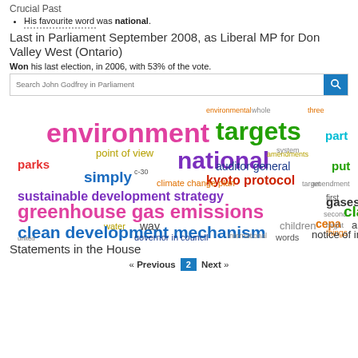Crucial Past
His favourite word was national.
Last in Parliament September 2008, as Liberal MP for Don Valley West (Ontario)
Won his last election, in 2006, with 53% of the vote.
[Figure (other): Search box: Search John Godfrey in Parliament]
[Figure (infographic): Word cloud featuring terms: environment, targets, national, greenhouse gas emissions, clean development mechanism, sustainable development strategy, kyoto protocol, auditor general, simply, parks, point of view, climate change plan, amendment, amendments, c-30, water, way, children, air, cepa, clause, gases, governor in council, notice of intent, words, united commissioner, international, environmental, whole, three, part, system, put, target, first, second, might, things, problem]
Statements in the House
« Previous  2  Next »